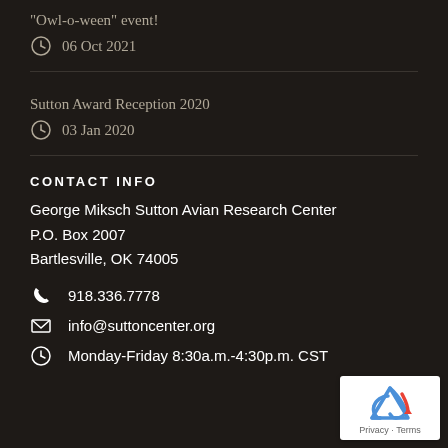“Owl-o-ween” event!
06 Oct 2021
Sutton Award Reception 2020
03 Jan 2020
CONTACT INFO
George Miksch Sutton Avian Research Center
P.O. Box 2007
Bartlesville, OK 74005
918.336.7778
info@suttoncenter.org
Monday-Friday 8:30a.m.-4:30p.m. CST